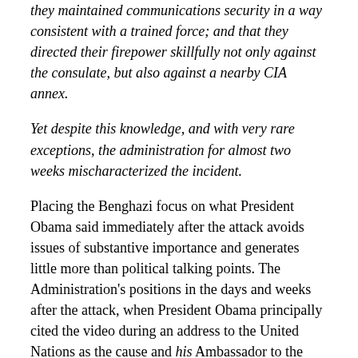they maintained communications security in a way consistent with a trained force; and that they directed their firepower skillfully not only against the consulate, but also against a nearby CIA annex.
Yet despite this knowledge, and with very rare exceptions, the administration for almost two weeks mischaracterized the incident.
Placing the Benghazi focus on what President Obama said immediately after the attack avoids issues of substantive importance and generates little more than political talking points. The Administration's positions in the days and weeks after the attack, when President Obama principally cited the video during an address to the United Nations as the cause and his Ambassador to the United Nations often repeated the same nonsense, are more important.